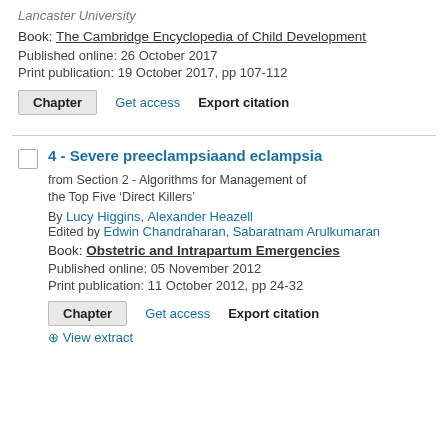Lancaster University
Book: The Cambridge Encyclopedia of Child Development
Published online: 26 October 2017
Print publication: 19 October 2017, pp 107-112
Chapter  Get access  Export citation
4 - Severe preeclampsiaand eclampsia
from Section 2 - Algorithms for Management of the Top Five ‘Direct Killers’
By Lucy Higgins, Alexander Heazell
Edited by Edwin Chandraharan, Sabaratnam Arulkumaran
Book: Obstetric and Intrapartum Emergencies
Published online: 05 November 2012
Print publication: 11 October 2012, pp 24-32
Chapter  Get access  Export citation
View extract